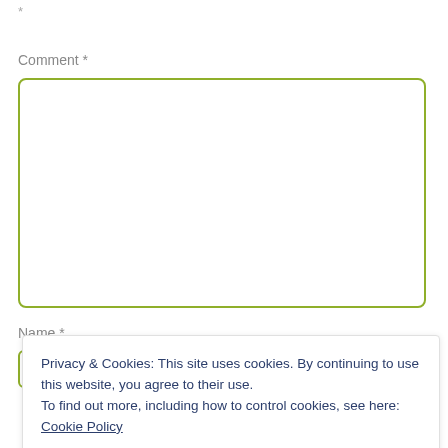*
Comment *
[Figure (other): Empty comment text area with green rounded border]
Name *
[Figure (other): Empty name text input with green rounded border]
Privacy & Cookies: This site uses cookies. By continuing to use this website, you agree to their use.
To find out more, including how to control cookies, see here: Cookie Policy
Close and accept